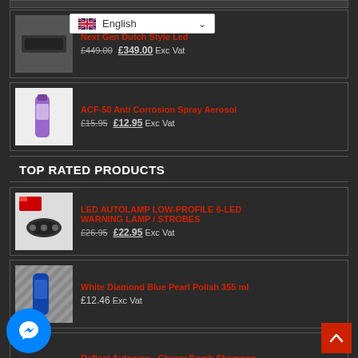[Figure (screenshot): Top partial product card (partially visible at top)]
[Figure (screenshot): Language selector dropdown showing UK flag and English with chevron]
Next Gen Dutch Style Led - £449.00 £349.00 Exc Vat
ACF-50 Anti Corrosion Spray Aerosol - £15.95 £12.95 Exc Vat
TOP RATED PRODUCTS
LED AUTOLAMP LOW-PROFILE 6-LED WARNING LAMP / STROBES - £26.95 £22.95 Exc Vat
White Diamond Blue Pearl Polish 355 ml - £12.46 Exc Vat
Reflect Autocare - Cherry Bomb Shampoo - £8.76 – £18.00 Exc Vat
[Figure (screenshot): Facebook Messenger chat button (blue circle with lightning bolt icon)]
[Figure (screenshot): Back to top button (red square with up arrow)]